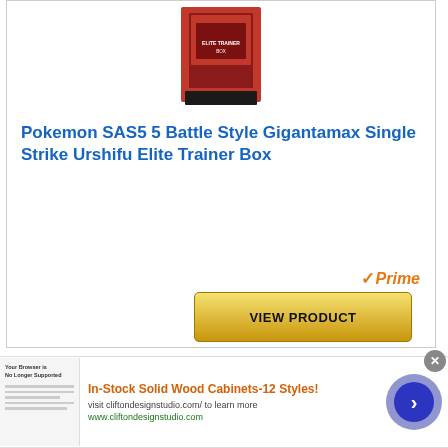[Figure (photo): Pokemon SAS5 Battle Style Gigantamax Single Strike Urshifu Elite Trainer Box product image - red box]
Pokemon SAS5 5 Battle Style Gigantamax Single Strike Urshifu Elite Trainer Box
[Figure (logo): Amazon Prime logo with checkmark and italic Prime text in orange]
VIEW PRODUCT
The Pokemon SAS5 5 Battle Style Gigantamax Single Strike Urshifu Elite Trainer Box is perfect for beginner and
[Figure (screenshot): Advertisement banner: In-Stock Solid Wood Cabinets-12 Styles! visit cliftondesignstudio.com/ to learn more www.cliftondesignstudio.com]